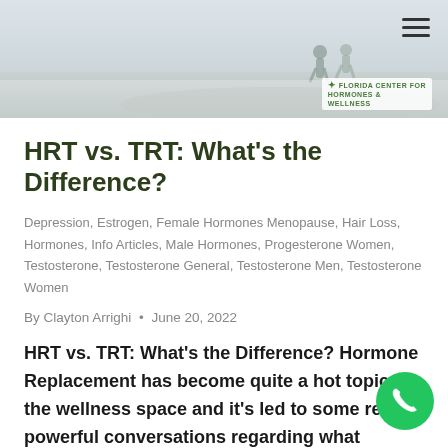[Figure (photo): Hero image of people walking outdoors on a path, faded background with a navigation hamburger menu icon and a Florida Center for Hormones and Wellness logo in the top right corner.]
HRT vs. TRT: What's the Difference?
Depression, Estrogen, Female Hormones Menopause, Hair Loss, Hormones, Info Articles, Male Hormones, Progesterone Women, Testosterone, Testosterone General, Testosterone Men, Testosterone Women
By Clayton Arrighi · June 20, 2022
HRT vs. TRT: What's the Difference? Hormone Replacement has become quite a hot topic in the wellness space and it's led to some really powerful conversations regarding what options are out there! We at Florida Center for Hormones and Wellness want to help educate and treat patients so that they can be happy, healthy,...